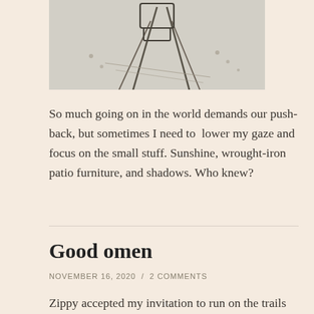[Figure (photo): A black and white or sepia-toned photo of wrought-iron patio furniture casting shadows on a light surface, viewed from above at an angle.]
So much going on in the world demands our push-back, but sometimes I need to  lower my gaze and focus on the small stuff. Sunshine, wrought-iron patio furniture, and shadows. Who knew?
Good omen
NOVEMBER 16, 2020  /  2 COMMENTS
Zippy accepted my invitation to run on the trails with me this afternoon. It turned out, lots of people had the